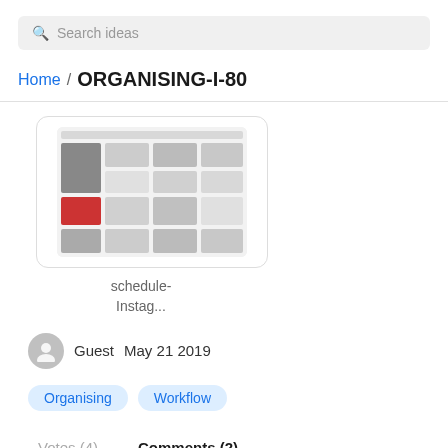Search ideas
Home / ORGANISING-I-80
[Figure (screenshot): Thumbnail screenshot of a social media scheduling interface showing a grid of images, resembling an Instagram scheduler view.]
schedule-Instag...
Guest   May 21 2019
Organising   Workflow
Votes (4)   Comments (2)